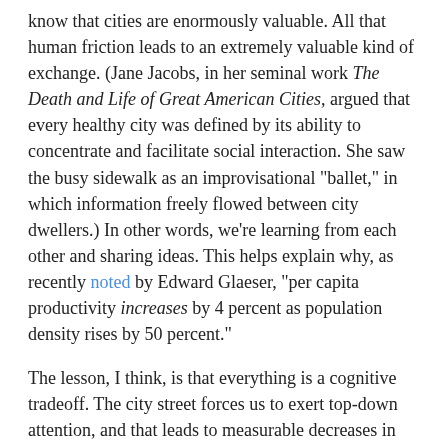know that cities are enormously valuable. All that human friction leads to an extremely valuable kind of exchange. (Jane Jacobs, in her seminal work The Death and Life of Great American Cities, argued that every healthy city was defined by its ability to concentrate and facilitate social interaction. She saw the busy sidewalk as an improvisational "ballet," in which information freely flowed between city dwellers.) In other words, we're learning from each other and sharing ideas. This helps explain why, as recently noted by Edward Glaeser, "per capita productivity increases by 4 percent as population density rises by 50 percent."
The lesson, I think, is that everything is a cognitive tradeoff. The city street forces us to exert top-down attention, and that leads to measurable decreases in mental function. On the other hand, the internet, it is argued, encourages a constant state of multitasking and distraction, and that leads to an intellectual shallowness, as we lose the ability to focus for extended tracts of time. My hunch is that the online world will, before long, come to seem as inevitable and necessary as the metropolis. Why? Because the value it provides far outweighs the cognitive costs (which may or may not exist.) And this is why I'm wary when the brain/mind becomes the main criterion for discussing